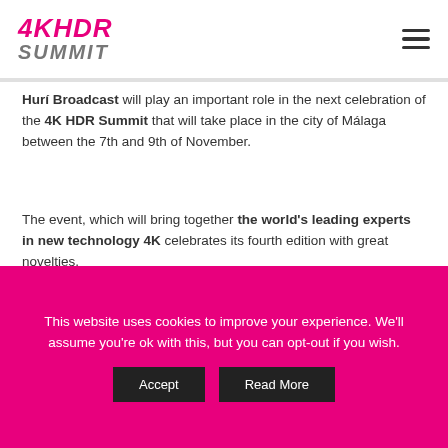4KHDR SUMMIT
Hurí Broadcast will play an important role in the next celebration of the 4K HDR Summit that will take place in the city of Málaga between the 7th and 9th of November.
The event, which will bring together the world's leading experts in new technology 4K celebrates its fourth edition with great novelties.
Representatives from more than 20 countries will share the latest technological advances and content
This website uses cookies to improve your experience. We'll assume you're ok with this, but you can opt-out if you wish.
Accept | Read More